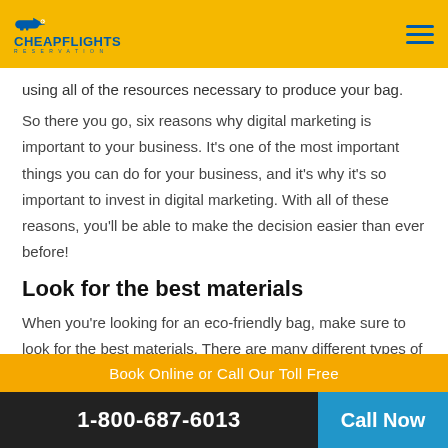CheapFlights Reservation
using all of the resources necessary to produce your bag.
So there you go, six reasons why digital marketing is important to your business. It’s one of the most important things you can do for your business, and it’s why it’s so important to invest in digital marketing. With all of these reasons, you’ll be able to make the decision easier than ever before!
Look for the best materials
When you’re looking for an eco-friendly bag, make sure to look for the best materials. There are many different types of materials that can be used in eco-friendly bags. Some materials that often are
Book Online or Call Our Toll Free
1-800-687-6013  Call Now